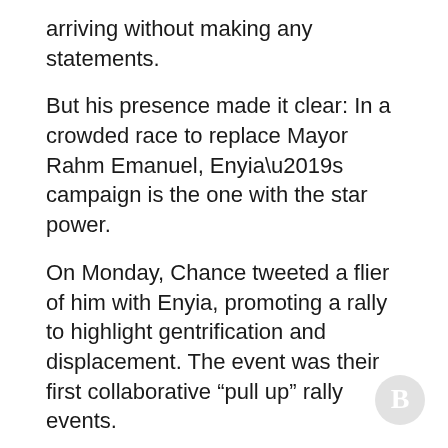arriving without making any statements.
But his presence made it clear: In a crowded race to replace Mayor Rahm Emanuel, Enyia’s campaign is the one with the star power.
On Monday, Chance tweeted a flier of him with Enyia, promoting a rally to highlight gentrification and displacement. The event was their first collaborative “pull up” rally events.
Tmw at 2pm PULL UPPP
pic.twitter.com/suyOnExA5e
— Chance The Rapper (@chancetherapper) October 22, 2018